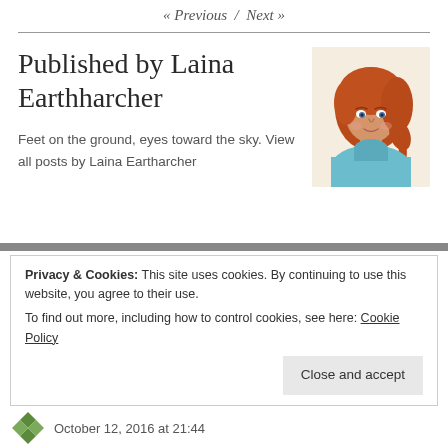« Previous / Next »
Published by Laina Eartharcher
[Figure (illustration): Illustrated avatar of a woman with red/auburn hair wearing a teal turtleneck sweater, cartoon style, on a light beige background.]
Feet on the ground, eyes toward the sky. View all posts by Laina Eartharcher
Privacy & Cookies: This site uses cookies. By continuing to use this website, you agree to their use.
To find out more, including how to control cookies, see here: Cookie Policy
Close and accept
October 12, 2016 at 21:44